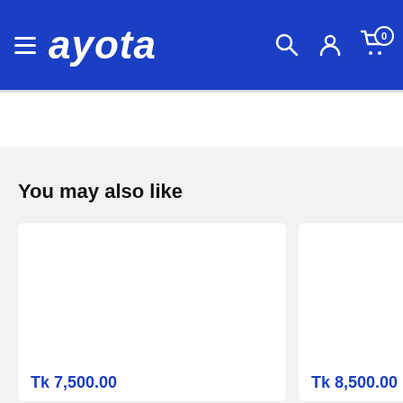ayota — navigation header with hamburger menu, logo, search, account, and cart icons
You may also like
Tk 7,500.00
Tk 8,500.00